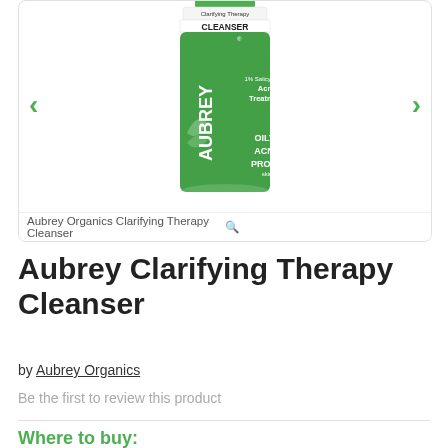[Figure (photo): Product photo of Aubrey Organics Clarifying Therapy Cleanser bottle with green label showing '1% Salicylic Acid Acne Treatment' and 'OILY / ACNE PRONE skin'. Navigation arrows on left and right sides.]
Aubrey Organics Clarifying Therapy Cleanser
Aubrey Clarifying Therapy Cleanser
by Aubrey Organics
Be the first to review this product
Where to buy: